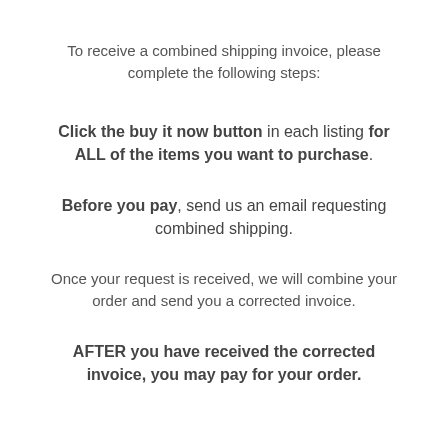To receive a combined shipping invoice, please complete the following steps:
Click the buy it now button in each listing for ALL of the items you want to purchase.
Before you pay, send us an email requesting combined shipping.
Once your request is received, we will combine your order and send you a corrected invoice.
AFTER you have received the corrected invoice, you may pay for your order.